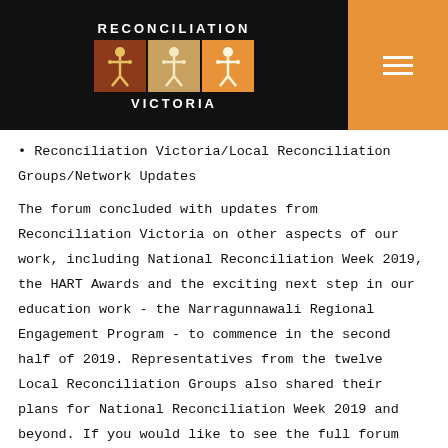[Figure (logo): Reconciliation Victoria logo with header navigation bar showing three Indigenous figures in colored boxes]
• Reconciliation Victoria/Local Reconciliation Groups/Network Updates
The forum concluded with updates from Reconciliation Victoria on other aspects of our work, including National Reconciliation Week 2019, the HART Awards and the exciting next step in our education work - the Narragunnawali Regional Engagement Program - to commence in the second half of 2019. Representatives from the twelve Local Reconciliation Groups also shared their plans for National Reconciliation Week 2019 and beyond. If you would like to see the full forum notes, contact the office.